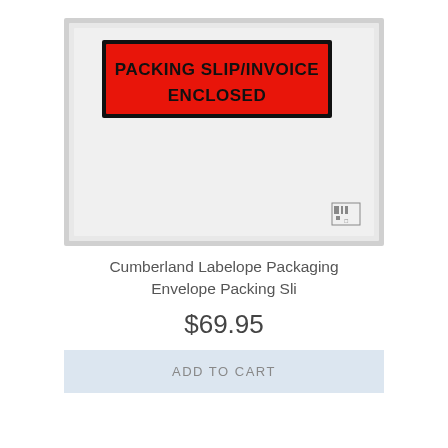[Figure (photo): A clear/grey packing slip envelope with a red label area printed with 'PACKING SLIP/INVOICE ENCLOSED' in bold black text. The envelope has a small barcode/icon in the bottom right corner.]
Cumberland Labelope Packaging Envelope Packing Sli
$69.95
ADD TO CART